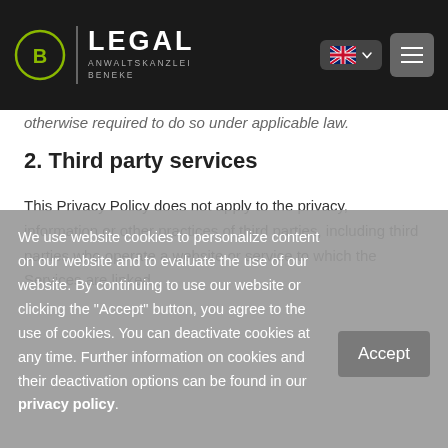BE LEGAL Anwaltskanzlei Beneke
otherwise required to do so under applicable law.
2. Third party services
This Privacy Policy does not apply to the privacy, information or other practices of third parties, including third parties who operate a website or service to which the Services are linked
We use website cookies to personalize content on our website and to evaluate the use of our website. By continuing to use our website or clicking the "Accept" button, you agree to the use of cookies. You can deactivate cookies at any time. Further information on cookies and their deactivation options can be found in our privacy policy.